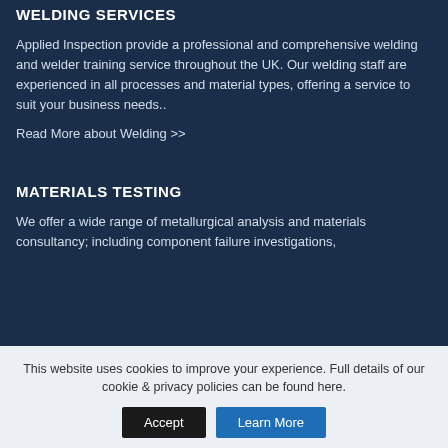WELDING SERVICES
Applied Inspection provide a professional and comprehensive welding and welder training service throughout the UK. Our welding staff are experienced in all processes and material types, offering a service to suit your business needs..
Read More about Welding >>
MATERIALS TESTING
We offer a wide range of metallurgical analysis and materials consultancy; including component failure investigations,
This website uses cookies to improve your experience. Full details of our cookie & privacy policies can be found here.
Accept
Learn More